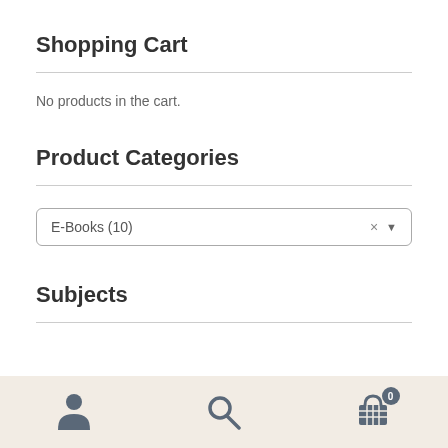Shopping Cart
No products in the cart.
Product Categories
E-Books  (10)
Subjects
[Figure (other): Bottom navigation bar with person icon, search icon, and shopping cart icon with badge showing 0]